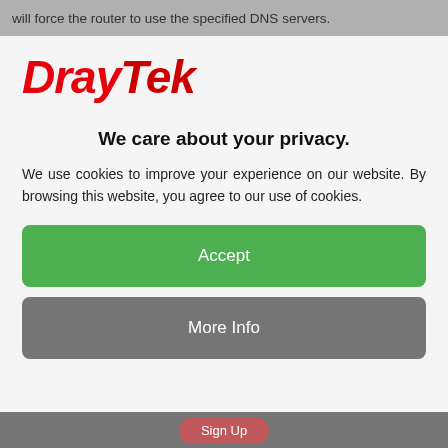will force the router to use the specified DNS servers.
[Figure (logo): DrayTek logo in red italic bold font]
We care about your privacy.
We use cookies to improve your experience on our website. By browsing this website, you agree to our use of cookies.
Accept
More Info
Sign Up